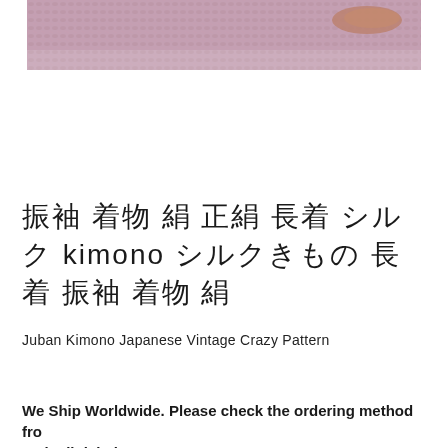[Figure (photo): Partial view of a pink/mauve textured knitted or woven fabric with a wooden object visible, cropped at the top of the page]
振袖 着物 絹 正絹 長着 シルク kimono シルクきもの 長着 振袖 着物 絹
Juban Kimono Japanese Vintage Crazy Pattern
We Ship Worldwide. Please check the ordering method from the link below